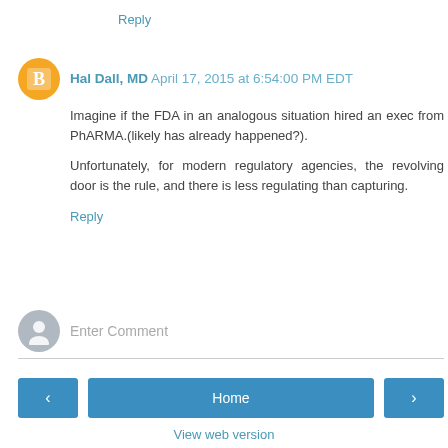Reply
Hal Dall, MD  April 17, 2015 at 6:54:00 PM EDT
Imagine if the FDA in an analogous situation hired an exec from PhARMA.(likely has already happened?).
Unfortunately, for modern regulatory agencies, the revolving door is the rule, and there is less regulating than capturing.
Reply
Enter Comment
Home
View web version